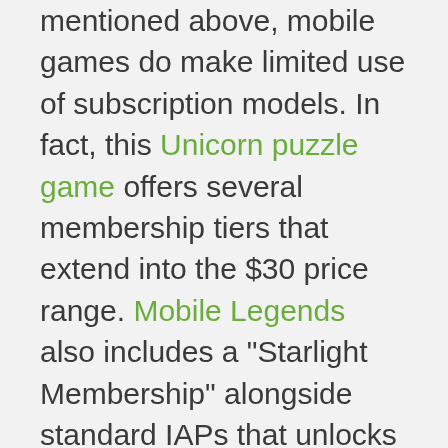mentioned above, mobile games do make limited use of subscription models. In fact, this Unicorn puzzle game offers several membership tiers that extend into the $30 price range. Mobile Legends also includes a “Starlight Membership” alongside standard IAPs that unlocks monthly benefits for players.
Yet the simple fact is that, for the time being, paid subscriptions are a low priority for users and publishers alike. According to eMarketer, only 14% of mobile publishers consider subscriptions to be an effective monetization format